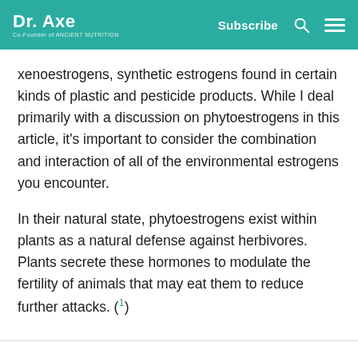Dr. Axe | Co-Founder of Ancient Nutrition | Subscribe
xenoestrogens, synthetic estrogens found in certain kinds of plastic and pesticide products. While I deal primarily with a discussion on phytoestrogens in this article, it's important to consider the combination and interaction of all of the environmental estrogens you encounter.
In their natural state, phytoestrogens exist within plants as a natural defense against herbivores. Plants secrete these hormones to modulate the fertility of animals that may eat them to reduce further attacks. (1)
[Figure (infographic): Social sharing icons row: Facebook (blue circle), Twitter (teal circle), Pinterest (red circle), Email (gray circle), Print (gray circle)]